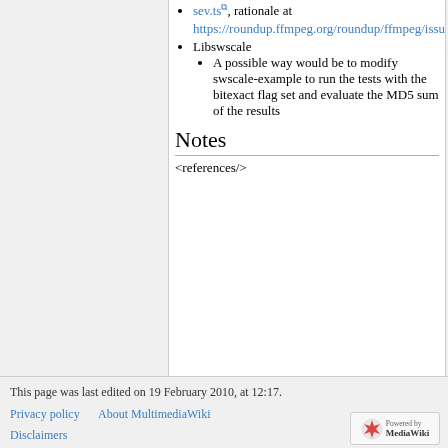sev.ts, rationale at https://roundup.ffmpeg.org/roundup/ffmpeg/issue1125.
Libswscale
A possible way would be to modify swscale-example to run the tests with the bitexact flag set and evaluate the MD5 sum of the results
Notes
<references/>
This page was last edited on 19 February 2010, at 12:17.
Privacy policy   About MultimediaWiki   Disclaimers